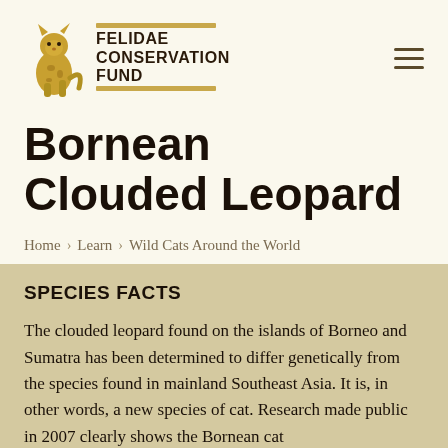[Figure (logo): Felidae Conservation Fund logo with a golden cat illustration and text 'FELIDAE CONSERVATION FUND' with gold horizontal bars]
Bornean Clouded Leopard
Home > Learn > Wild Cats Around the World
SPECIES FACTS
The clouded leopard found on the islands of Borneo and Sumatra has been determined to differ genetically from the species found in mainland Southeast Asia. It is, in other words, a new species of cat. Research made public in 2007 clearly shows the Bornean cat